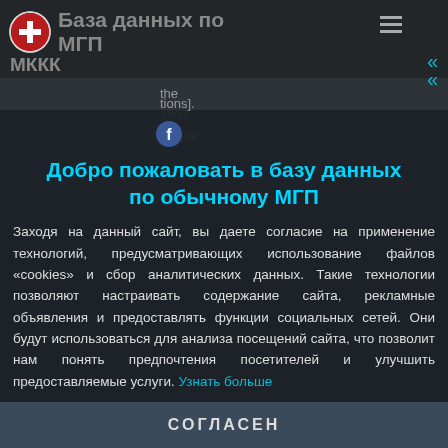База данных по МГП — МККК
the
1907
Hague
tions].
Добро пожаловать в базу данных по обычному МГП
Русский
Section   C.
Заходя на данный сайт, вы даете согласие на применение технологий, предусматривающих использование файлов «cookies» и сбор аналитических данных. Такие технологии позволяют настраивать содержание сайта, рекламные объявления и предоставлять функции социальных сетей. Они будут использоваться для анализа посещений сайта, что позволит нам понять предпочтения посетителей и улучшить предоставляемые услуги. Узнать больше
СОГЛАСЕН